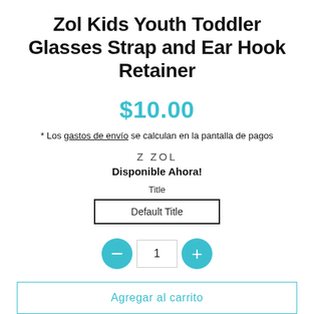Zol Kids Youth Toddler Glasses Strap and Ear Hook Retainer
$10.00
* Los gastos de envío se calculan en la pantalla de pagos
Z ZOL
Disponible Ahora!
Title
Default Title
1
Agregar al carrito